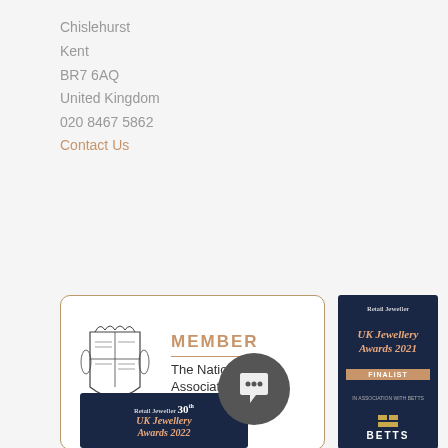Chislehurst
Kent
BR7 6AQ
United Kingdom
020 8467 5862
Contact Us
[Figure (logo): National Association of Jewellers member badge with crest and text 'MEMBER The National Association of Jewellers — The Mark of Quality']
[Figure (logo): Retail Jeweller UK Jewellery Awards 2021 Finalist badge — dark navy background with rose gold text and BETTS logo]
[Figure (logo): Retail Jeweller UK Jewellery Awards 2022 badge — partially visible, dark navy background with rose gold text]
[Figure (other): Dark grey circular chat/message bubble icon overlay]